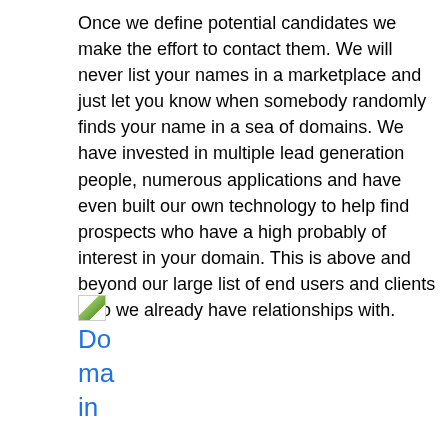Once we define potential candidates we make the effort to contact them. We will never list your names in a marketplace and just let you know when somebody randomly finds your name in a sea of domains. We have invested in multiple lead generation people, numerous applications and have even built our own technology to help find prospects who have a high probably of interest in your domain. This is above and beyond our large list of end users and clients who we already have relationships with.
[Figure (other): Broken image icon (small green/white thumbnail placeholder)]
Domain Holdings, Custom End User Reports